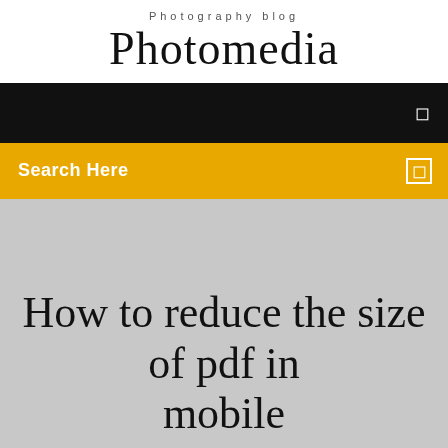Photography blog
Photomedia
[Figure (screenshot): Black navigation bar with white menu icon on the right]
[Figure (screenshot): Yellow/amber search bar with 'Search Here' text in white and a white square icon on the right]
How to reduce the size of pdf in mobile